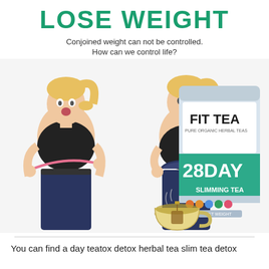LOSE WEIGHT
Conjoined weight can not be controlled.
How can we control life?
[Figure (photo): Two women side by side: left woman in black top looking surprised measuring her waist with a pink tape measure; right woman in black top smiling showing loose jeans. A package of Fit Tea 28 Day Slimming Tea and a glass mug of green tea are shown on the right side.]
You can find a day teatox detox herbal tea slim tea detox